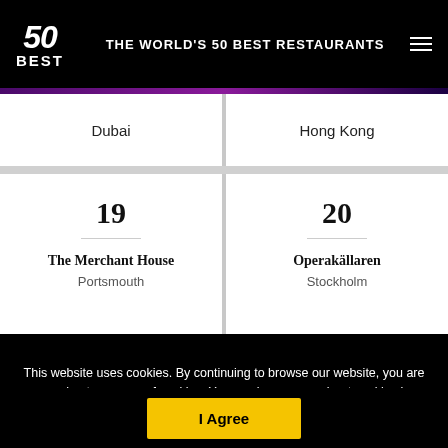THE WORLD'S 50 BEST RESTAURANTS
Dubai
Hong Kong
19
The Merchant House
Portsmouth
20
Operakällaren
Stockholm
This website uses cookies. By continuing to browse our website, you are agreeing to our use of cookies. You can learn more about cookies by visiting our privacy & cookies policy page.